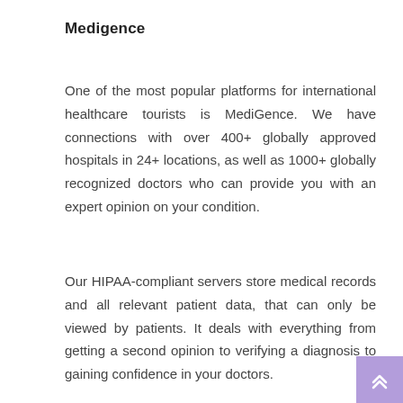Medigence
One of the most popular platforms for international healthcare tourists is MediGence. We have connections with over 400+ globally approved hospitals in 24+ locations, as well as 1000+ globally recognized doctors who can provide you with an expert opinion on your condition.
Our HIPAA-compliant servers store medical records and all relevant patient data, that can only be viewed by patients. It deals with everything from getting a second opinion to verifying a diagnosis to gaining confidence in your doctors.